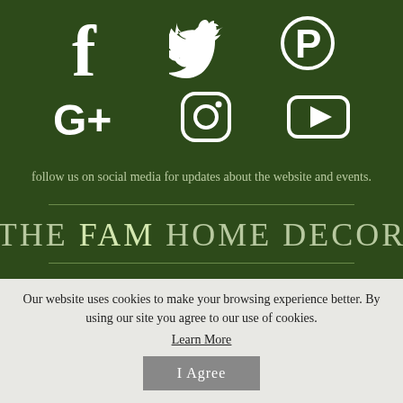[Figure (illustration): Six social media icons arranged in two rows: Facebook, Twitter, Pinterest (top row); Google+, Instagram, YouTube (bottom row). All icons are white on dark green background.]
follow us on social media for updates about the website and events.
THE FAM HOME DECOR
Our website uses cookies to make your browsing experience better. By using our site you agree to our use of cookies.
Learn More
I Agree